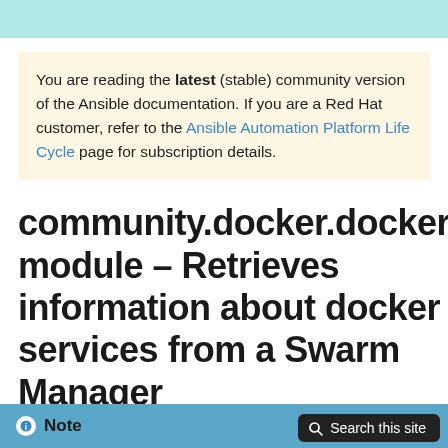You are reading the latest (stable) community version of the Ansible documentation. If you are a Red Hat customer, refer to the Ansible Automation Platform Life Cycle page for subscription details.
community.docker.docker_swarm_info module – Retrieves information about docker services from a Swarm Manager
Note